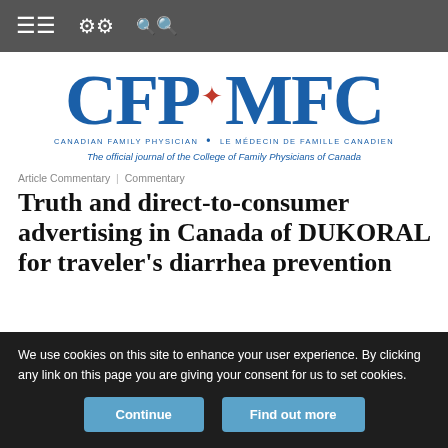Navigation bar with menu, settings, and search icons
[Figure (logo): CFP·MFC logo — Canadian Family Physician / Le Médecin de famille canadien. The official journal of the College of Family Physicians of Canada.]
Article Commentary | Commentary
Truth and direct-to-consumer advertising in Canada of DUKORAL for traveler's diarrhea prevention
We use cookies on this site to enhance your user experience. By clicking any link on this page you are giving your consent for us to set cookies.
Continue | Find out more